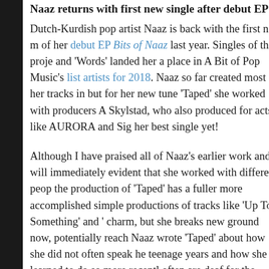Naaz returns with first new single after debut EP
Dutch-Kurdish pop artist Naaz is back with the first new music since the release of her debut EP Bits of Naaz last year. Singles of this project like 'Bits' and 'Words' landed her a place in A Bit of Pop Music's list of most promising artists for 2018. Naaz so far created most of her tracks in relative isolation, but for her new tune 'Taped' she worked with producers Askjell and Magnus Skylstad, who also produced for acts like AURORA and Sigrid. 'Taped' might be her best single yet!
Although I have praised all of Naaz's earlier work and will continue to, it is immediately evident that she worked with different people this time around as the production of 'Taped' has a fuller more accomplished feel compared to the simple productions of tracks like 'Up To Something' and 'Move'. Both had charm, but she breaks new ground now, potentially reaching new audiences. Naaz wrote 'Taped' about how she did not often speak her mind during her teenage years and how she learned to do so more recently. People around her often are deaf for the things they don't want to hear, but she is not holding back anymore, not being 'taped'. The lyrics in this are striking, conveying the message beautifully. Vocally Naaz pushes herself to new h